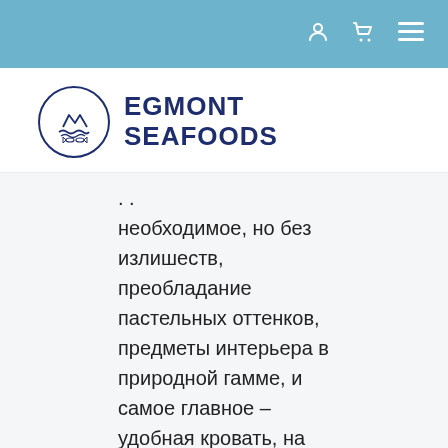Navigation bar with user, cart, and menu icons
[Figure (logo): Egmont Seafoods logo: circular emblem with fish and waves in navy blue, beside bold navy text reading EGMONT SEAFOODS]
. .
необходимое, но без излишеств, преобладание пастельных оттенков, предметы интерьера в природной гамме, и самое главное – удобная кровать, на которой хочется спать. Эргономичность, минимализм,